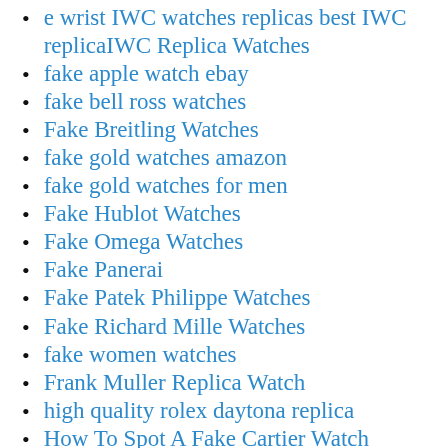e wrist IWC watches replicas best IWC replicaIWC Replica Watches
fake apple watch ebay
fake bell ross watches
Fake Breitling Watches
fake gold watches amazon
fake gold watches for men
Fake Hublot Watches
Fake Omega Watches
Fake Panerai
Fake Patek Philippe Watches
Fake Richard Mille Watches
fake women watches
Frank Muller Replica Watch
high quality rolex daytona replica
How To Spot A Fake Cartier Watch